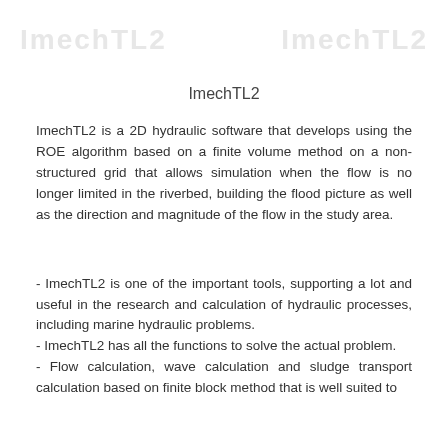ImechTL2
ImechTL2 is a 2D hydraulic software that develops using the ROE algorithm based on a finite volume method on a non-structured grid that allows simulation when the flow is no longer limited in the riverbed, building the flood picture as well as the direction and magnitude of the flow in the study area.
- ImechTL2 is one of the important tools, supporting a lot and useful in the research and calculation of hydraulic processes, including marine hydraulic problems.
- ImechTL2 has all the functions to solve the actual problem.
- Flow calculation, wave calculation and sludge transport calculation based on finite block method that is well suited to